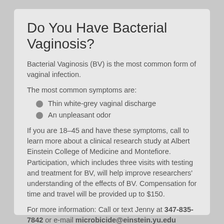Do You Have Bacterial Vaginosis?
Bacterial Vaginosis (BV) is the most common form of vaginal infection.
The most common symptoms are:
Thin white-grey vaginal discharge
An unpleasant odor
If you are 18–45 and have these symptoms, call to learn more about a clinical research study at Albert Einstein College of Medicine and Montefiore. Participation, which includes three visits with testing and treatment for BV, will help improve researchers' understanding of the effects of BV. Compensation for time and travel will be provided up to $150.
For more information: Call or text Jenny at 347-835-7842 or e-mail microbicide@einstein.yu.edu